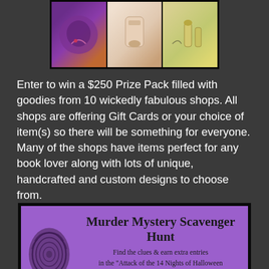[Figure (photo): Three product images in a dark-bordered frame showing decorative/beauty items]
Enter to win a $250 Prize Pack filled with goodies from 10 wickedly fabulous shops. All shops are offering Gift Cards or your choice of item(s) so there will be something for everyone. Many of the shops have items perfect for any book lover along with lots of unique, handcrafted and custom designs to choose from.
[Figure (infographic): Purple banner for Murder Mystery Scavenger Hunt by Laughing Vixen Lounge with fingerprint graphic. Text: Find the clues & earn extra entries in the "Attack of the 14 Nights of Halloween Giveaway" Laughing Vixen Lounge]
Visit the Laughing Vixen Lounge blog daily during the giveaway for the Halloween Movie Marathon. Test your movie knowledge with the Guess the Movie Game. Then try to solve the Murder Mystery Scavenger Hunt, if you dare!